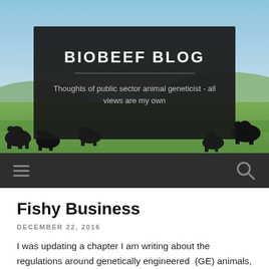[Figure (photo): Header banner showing a pastoral scene with black cattle grazing in a green field under a blue sky, overlaid with a dark semi-transparent box containing the blog title and subtitle.]
BIOBEEF BLOG
Thoughts of public sector animal geneticist - all views are my own
Fishy Business
DECEMBER 22, 2016
I was updating a chapter I am writing about the regulations around genetically engineered  (GE) animals, and both supporters and detractors of GE animals have